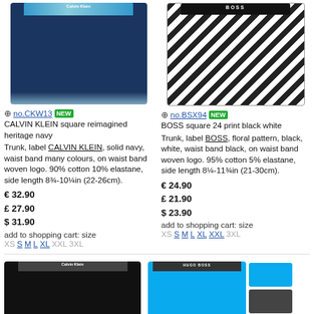[Figure (photo): Calvin Klein navy trunk with colorful waist band, product photo]
[Figure (photo): BOSS black and white floral print trunk, product photo]
no.CKW13 NEW
CALVIN KLEIN square reimagined heritage navy
Trunk, label CALVIN KLEIN, solid navy, waist band many colours, on waist band woven logo. 90% cotton 10% elastane, side length 8¾-10¼in (22-26cm).
€ 32.90
£ 27.90
$ 31.90
add to shopping cart: size
XS S M L XL XXL 3XL
no.BSX94 NEW
BOSS square 24 print black white
Trunk, label BOSS, floral pattern, black, white, waist band black, on waist band woven logo. 95% cotton 5% elastane, side length 8¼-11¾in (21-30cm).
€ 24.90
£ 21.90
$ 23.90
add to shopping cart: size
XS S M L XL XXL 3XL
[Figure (photo): Calvin Klein black trunk, product photo]
[Figure (photo): Hugo Boss blue trunk with HUGO BOSS waist band, with three thumbnail color variants (blue, dark, white)]